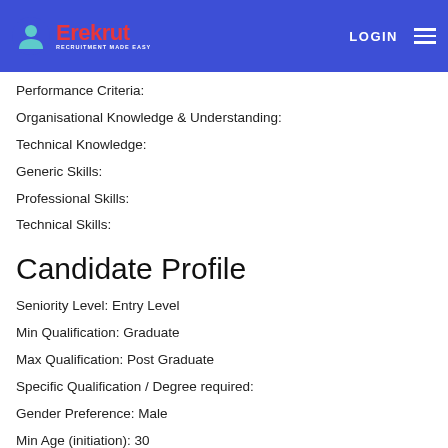Erekrut — RECRUITMENT MADE EASY | LOGIN
Performance Criteria:
Organisational Knowledge & Understanding:
Technical Knowledge:
Generic Skills:
Professional Skills:
Technical Skills:
Candidate Profile
Seniority Level: Entry Level
Min Qualification: Graduate
Max Qualification: Post Graduate
Specific Qualification / Degree required:
Gender Preference: Male
Min Age (initiation): 30